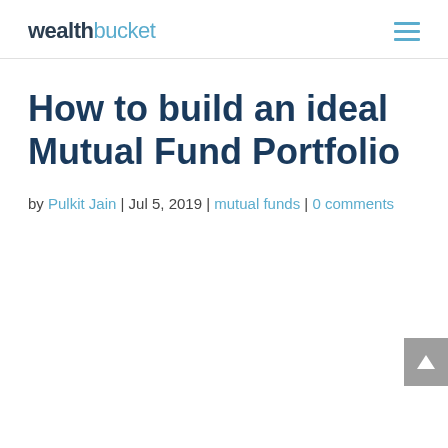wealthbucket
How to build an ideal Mutual Fund Portfolio
by Pulkit Jain | Jul 5, 2019 | mutual funds | 0 comments